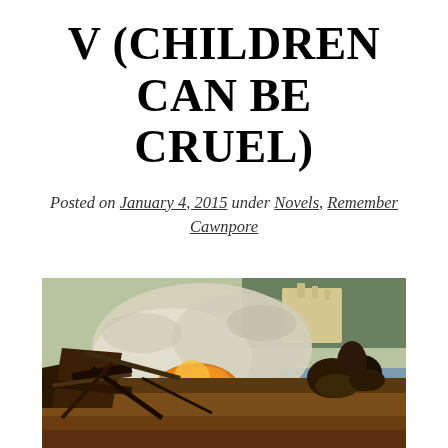V (CHILDREN CAN BE CRUEL)
Posted on January 4, 2015 under Novels, Remember Cawnpore
[Figure (illustration): A historical painting depicting a chaotic battle or fire scene with smoke, flames, figures on horseback and on foot, with a building or temple visible in the background.]